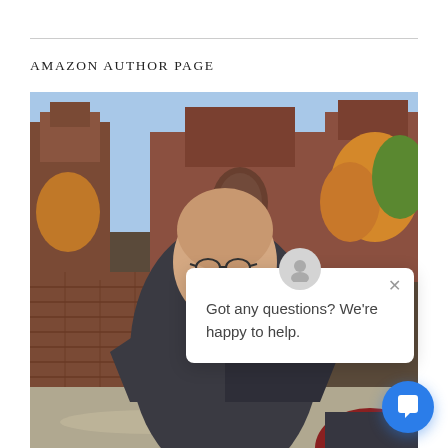AMAZON AUTHOR PAGE
[Figure (photo): An older bald man with glasses and a beard wearing a dark suit jacket and white shirt, standing in front of a red-brick medieval castle or cathedral with stone walls and gothic architecture. Trees with autumn foliage visible on the right. Green lawn in foreground.]
Got any questions? We're happy to help.